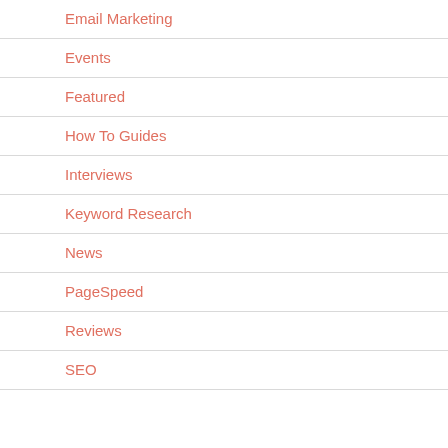Email Marketing
Events
Featured
How To Guides
Interviews
Keyword Research
News
PageSpeed
Reviews
SEO